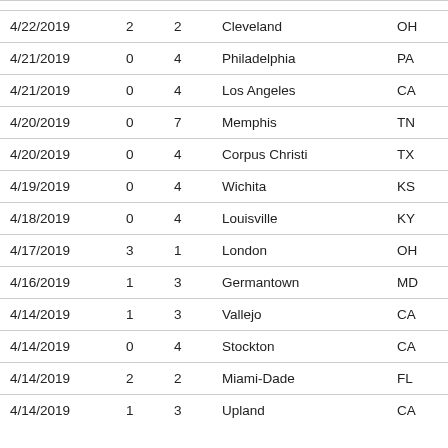| 4/22/2019 | 2 | 2 | Cleveland | OH |
| 4/21/2019 | 0 | 4 | Philadelphia | PA |
| 4/21/2019 | 0 | 4 | Los Angeles | CA |
| 4/20/2019 | 0 | 7 | Memphis | TN |
| 4/20/2019 | 0 | 4 | Corpus Christi | TX |
| 4/19/2019 | 0 | 4 | Wichita | KS |
| 4/18/2019 | 0 | 4 | Louisville | KY |
| 4/17/2019 | 3 | 1 | London | OH |
| 4/16/2019 | 1 | 3 | Germantown | MD |
| 4/14/2019 | 1 | 3 | Vallejo | CA |
| 4/14/2019 | 0 | 4 | Stockton | CA |
| 4/14/2019 | 2 | 2 | Miami-Dade | FL |
| 4/14/2019 | 1 | 3 | Upland | CA |